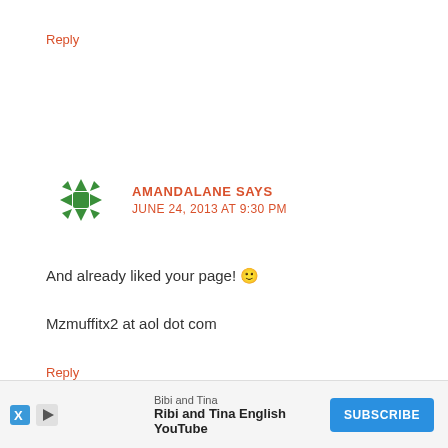Reply
[Figure (logo): Green decorative avatar icon with snowflake/cross pattern]
AMANDALANE SAYS
JUNE 24, 2013 AT 9:30 PM
And already liked your page! 🙂
Mzmuffitx2 at aol dot com
Reply
[Figure (screenshot): Advertisement bar: Bibi and Tina English YouTube channel with Subscribe button]